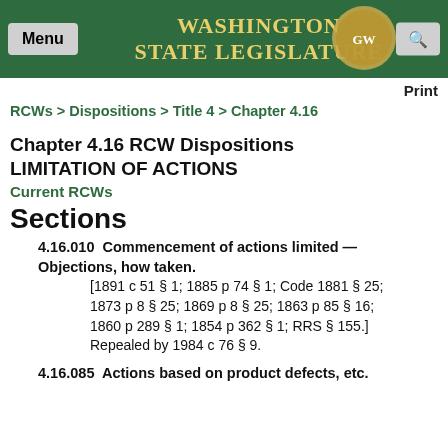Washington State Legislature
Print
RCWs > Dispositions > Title 4 > Chapter 4.16
Chapter 4.16 RCW Dispositions
LIMITATION OF ACTIONS
Current RCWs
Sections
4.16.010  Commencement of actions limited — Objections, how taken. [1891 c 51 § 1; 1885 p 74 § 1; Code 1881 § 25; 1873 p 8 § 25; 1869 p 8 § 25; 1863 p 85 § 16; 1860 p 289 § 1; 1854 p 362 § 1; RRS § 155.] Repealed by 1984 c 76 § 9.
4.16.085  Actions based on product defects, etc.